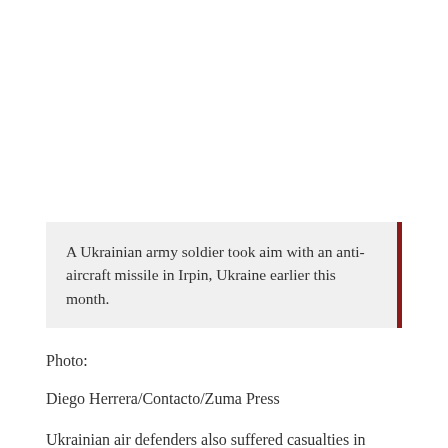A Ukrainian army soldier took aim with an anti-aircraft missile in Irpin, Ukraine earlier this month.
Photo:
Diego Herrera/Contacto/Zuma Press
Ukrainian air defenders also suffered casualties in nearly a